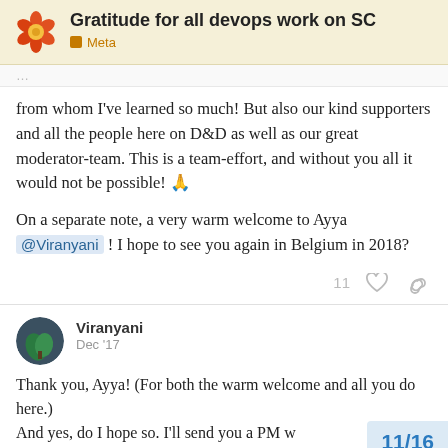Gratitude for all devops work on SC — Meta
from whom I've learned so much! But also our kind supporters and all the people here on D&D as well as our great moderator-team. This is a team-effort, and without you all it would not be possible! 🙏
On a separate note, a very warm welcome to Ayya @Viranyani ! I hope to see you again in Belgium in 2018?
11 ♡ 🔗
Viranyani Dec '17
Thank you, Ayya! (For both the warm welcome and all you do here.) And yes, do I hope so. I'll send you a PM w
11/16